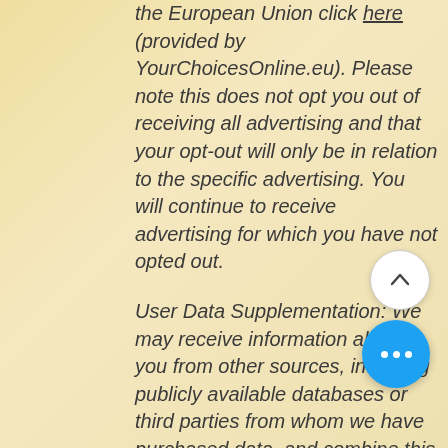the European Union click here (provided by YourChoicesOnline.eu). Please note this does not opt you out of receiving all advertising and that your opt-out will only be in relation to the specific advertising. You will continue to receive advertising for which you have not opted out.

User Data Supplementation: We may receive information about you from other sources, including publicly available databases or third parties from whom we have purchased data, and combine this data with information we already have about you. This helps us to update, expand and analyze our records, identify new customers, and provide products and Services that may be of interest to you. When we obtain